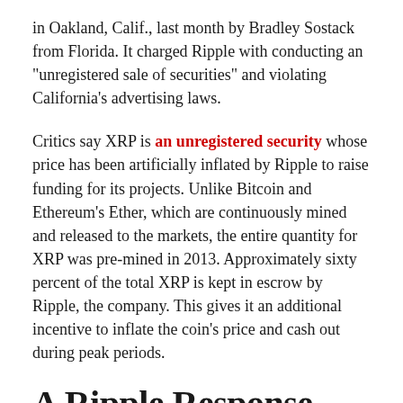in Oakland, Calif., last month by Bradley Sostack from Florida. It charged Ripple with conducting an “unregistered sale of securities” and violating California’s advertising laws.
Critics say XRP is an unregistered security whose price has been artificially inflated by Ripple to raise funding for its projects. Unlike Bitcoin and Ethereum’s Ether, which are continuously mined and released to the markets, the entire quantity for XRP was pre-mined in 2013. Approximately sixty percent of the total XRP is kept in escrow by Ripple, the company. This gives it an additional incentive to inflate the coin’s price and cash out during peak periods.
A Ripple Response